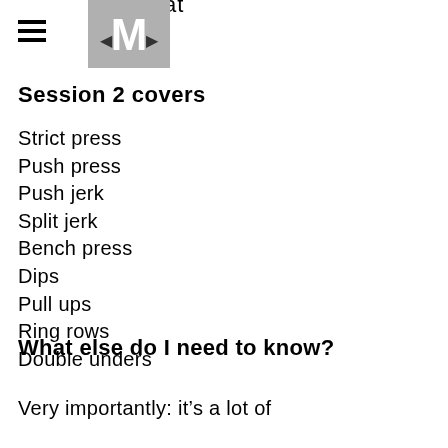dd squat
[Figure (logo): Medium-style M logo in grey square with hamburger menu icon to the left]
Session 2 covers
Strict press
Push press
Push jerk
Split jerk
Bench press
Dips
Pull ups
Ring rows
Double unders
What else do I need to know?
Very importantly: it’s a lot of